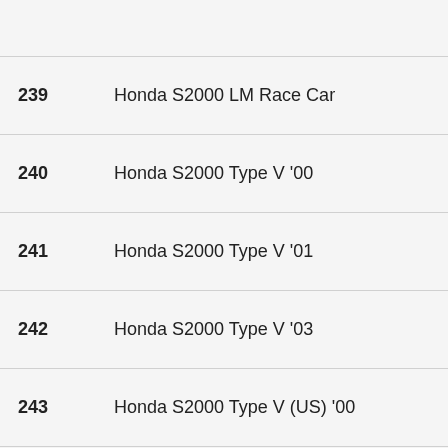239  Honda S2000 LM Race Car
240  Honda S2000 Type V '00
241  Honda S2000 Type V '01
242  Honda S2000 Type V '03
243  Honda S2000 Type V (US) '00